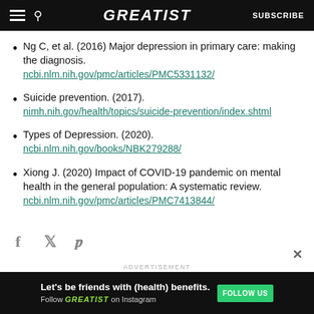GREATIST  SUBSCRIBE
Ng C, et al. (2016) Major depression in primary care: making the diagnosis. ncbi.nlm.nih.gov/pmc/articles/PMC5331132/
Suicide prevention. (2017). nimh.nih.gov/health/topics/suicide-prevention/index.shtml
Types of Depression. (2020). ncbi.nlm.nih.gov/books/NBK279288/
Xiong J. (2020) Impact of COVID-19 pandemic on mental health in the general population: A systematic review. ncbi.nlm.nih.gov/pmc/articles/PMC7413844/
[Figure (other): Social share icons: Facebook, Twitter, Pinterest]
ADVERTISEMENT
[Figure (infographic): Ad banner: Let's be friends with (health) benefits. Follow GREATIST on Instagram. FOLLOW US button.]